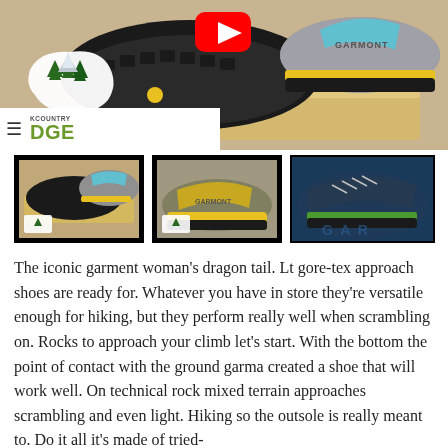[Figure (photo): Hero image showing Garmont hiking/approach shoes on a wooden display stand, with a YouTube play button overlay. The shoes are gray with blue and yellow accents. A backcountry edge logo with trees and mountains is visible in the lower left.]
[Figure (photo): Thumbnail 1: Garmont approach shoes on wooden stand, gray with blue accents, backcountry edge logo watermark]
[Figure (photo): Thumbnail 2: Garmont approach shoes in yellow/gray colorway, backcountry edge logo watermark]
[Figure (photo): Thumbnail 3: Garmont approach shoe in navy/green colorway close-up on Garmont branded surface]
The iconic garment woman's dragon tail. Lt gore-tex approach shoes are ready for. Whatever you have in store they're versatile enough for hiking, but they perform really well when scrambling on. Rocks to approach your climb let's start. With the bottom the point of contact with the ground garma created a shoe that will work well. On technical rock mixed terrain approaches scrambling and even light. Hiking so the outsole is really meant to. Do it all it's made of tried-